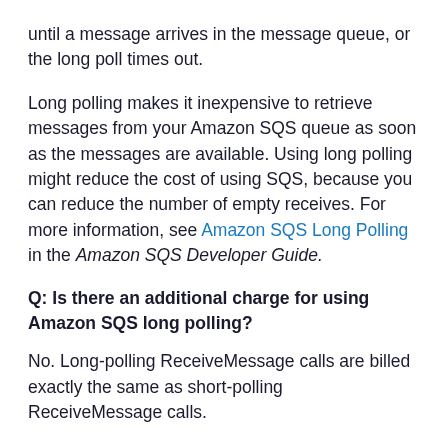until a message arrives in the message queue, or the long poll times out.
Long polling makes it inexpensive to retrieve messages from your Amazon SQS queue as soon as the messages are available. Using long polling might reduce the cost of using SQS, because you can reduce the number of empty receives. For more information, see Amazon SQS Long Polling in the Amazon SQS Developer Guide.
Q: Is there an additional charge for using Amazon SQS long polling?
No. Long-polling ReceiveMessage calls are billed exactly the same as short-polling ReceiveMessage calls.
Q: When should I use Amazon SQS long polling, and when should I use Amazon SQS short polling?